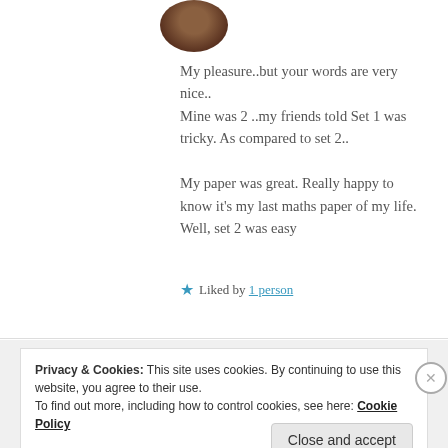[Figure (photo): Circular avatar/profile photo showing a person with dark hair, partially cropped at top of page]
My pleasure..but your words are very nice.. Mine was 2 ..my friends told Set 1 was tricky. As compared to set 2.. My paper was great. Really happy to know it's my last maths paper of my life. Well, set 2 was easy
★ Liked by 1 person
Privacy & Cookies: This site uses cookies. By continuing to use this website, you agree to their use.
To find out more, including how to control cookies, see here: Cookie Policy
Close and accept